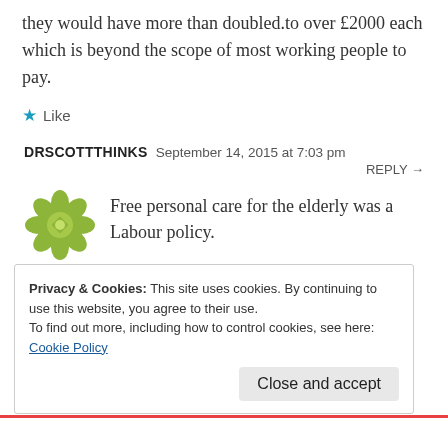they would have more than doubled.to over £2000 each which is beyond the scope of most working people to pay.
★ Like
DRSCOTTTHINKS  September 14, 2015 at 7:03 pm  REPLY →
Free personal care for the elderly was a Labour policy.
Privacy & Cookies: This site uses cookies. By continuing to use this website, you agree to their use.
To find out more, including how to control cookies, see here:
Cookie Policy
Close and accept